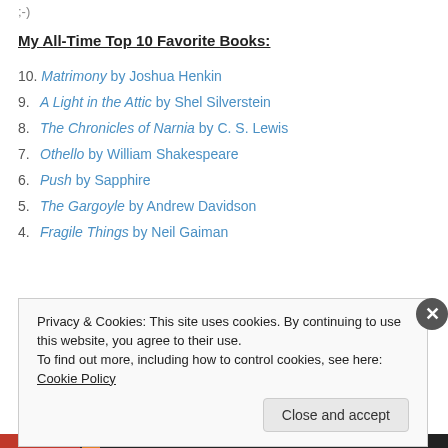;-)
My All-Time Top 10 Favorite Books:
10. Matrimony by Joshua Henkin
9. A Light in the Attic by Shel Silverstein
8. The Chronicles of Narnia by C. S. Lewis
7. Othello by William Shakespeare
6. Push by Sapphire
5. The Gargoyle by Andrew Davidson
4. Fragile Things by Neil Gaiman
Privacy & Cookies: This site uses cookies. By continuing to use this website, you agree to their use. To find out more, including how to control cookies, see here: Cookie Policy
Close and accept